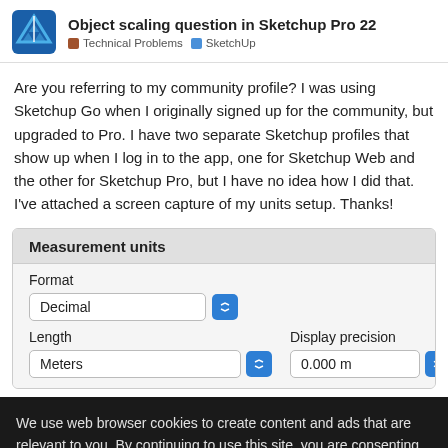Object scaling question in Sketchup Pro 22
Technical Problems   SketchUp
Are you referring to my community profile? I was using Sketchup Go when I originally signed up for the community, but upgraded to Pro. I have two separate Sketchup profiles that show up when I log in to the app, one for Sketchup Web and the other for Sketchup Pro, but I have no idea how I did that. I've attached a screen capture of my units setup. Thanks!
[Figure (screenshot): Screenshot of Sketchup Measurement units settings panel showing Format: Decimal, Length: Meters, Display precision: 0.000 m]
We use web browser cookies to create content and ads that are relevant to you. By continuing to use this site, you are consenting to our cookie policy. You can also manage cookie preferences.